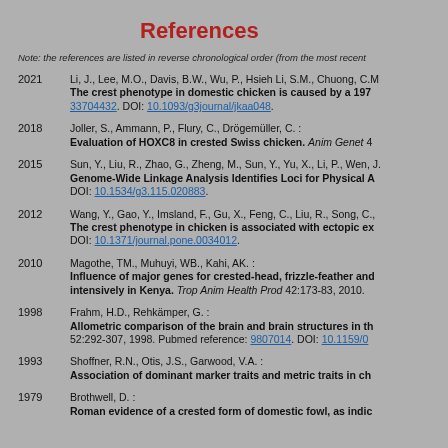References
Note: the references are listed in reverse chronological order (from the most recent)
2021 Li, J., Lee, M.O., Davis, B.W., Wu, P., Hsieh Li, S.M., Chuong, C.M. The crest phenotype in domestic chicken is caused by a 197... 33704432. DOI: 10.1093/g3journal/jkaa048.
2018 Joller, S., Ammann, P., Flury, C., Drögemüller, C. : Evaluation of HOXC8 in crested Swiss chicken. Anim Genet 4
2015 Sun, Y., Liu, R., Zhao, G., Zheng, M., Sun, Y., Yu, X., Li, P., Wen, J. Genome-Wide Linkage Analysis Identifies Loci for Physical A DOI: 10.1534/g3.115.020883.
2012 Wang, Y., Gao, Y., Imsland, F., Gu, X., Feng, C., Liu, R., Song, C., The crest phenotype in chicken is associated with ectopic ex DOI: 10.1371/journal.pone.0034012.
2010 Magothe, TM., Muhuyi, WB., Kahi, AK. : Influence of major genes for crested-head, frizzle-feather and intensively in Kenya. Trop Anim Health Prod 42:173-83, 2010.
1998 Frahm, H.D., Rehkämper, G. : Allometric comparison of the brain and brain structures in th 52:292-307, 1998. Pubmed reference: 9807014. DOI: 10.1159/0
1993 Shoffner, R.N., Otis, J.S., Garwood, V.A. : Association of dominant marker traits and metric traits in ch
1979 Brothwell, D. : Roman evidence of a crested form of domestic fowl, as indic